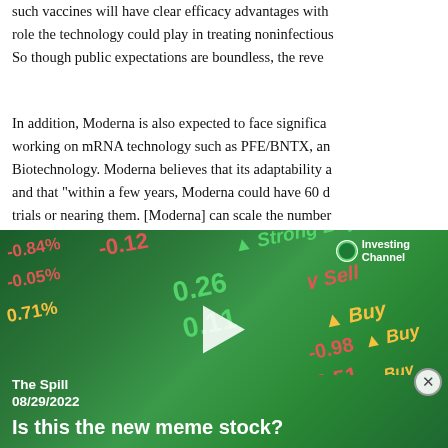such vaccines will have clear efficacy advantages with role the technology could play in treating noninfectious So though public expectations are boundless, the reve
In addition, Moderna is also expected to face significant working on mRNA technology such as PFE/BNTX, an Biotechnology. Moderna believes that its adaptability a and that "within a few years, Moderna could have 60 d trials or nearing them. [Moderna] can scale the number development at a pace that has never been done before
While we are clearly excited with Moderna's develop
[Figure (screenshot): Investing Channel video advertisement overlay showing stock ticker background with green/red numbers (-0.84%, -0.12, Strong Buy, -0.05%, 0.26, Sell, 0.71%, 0.11, Buy, -0.98, -0.51, Buy) with a play button. Title: The Spill 08/29/2022. Headline: Is this the new meme stock?]